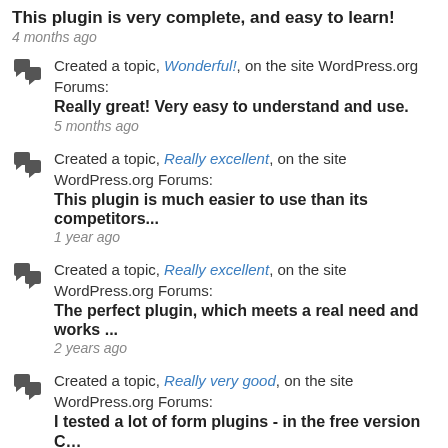This plugin is very complete, and easy to learn!
4 months ago
Created a topic, Wonderful!, on the site WordPress.org Forums:
Really great! Very easy to understand and use.
5 months ago
Created a topic, Really excellent, on the site WordPress.org Forums:
This plugin is much easier to use than its competitors...
1 year ago
Created a topic, Really excellent, on the site WordPress.org Forums:
The perfect plugin, which meets a real need and works ...
2 years ago
Created a topic, Really very good, on the site WordPress.org Forums:
I tested a lot of form plugins - in the free version C…
2 years ago
Created a topic, really useless, on the site WordPress.org